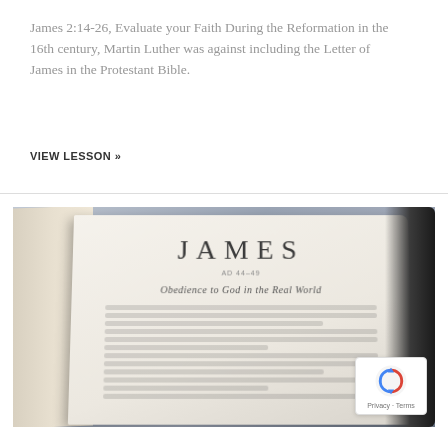James 2:14-26, Evaluate your Faith During the Reformation in the 16th century, Martin Luther was against including the Letter of James in the Protestant Bible.
VIEW LESSON »
[Figure (photo): Open Bible showing the book of James with title 'JAMES' in large letters, subtitle 'Obedience to God in the Real World', photographed on a gray background with black leather cover visible on the right.]